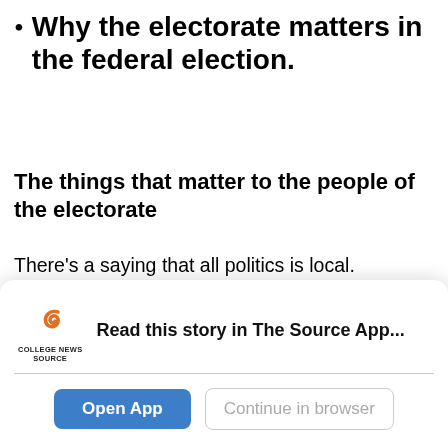Why the electorate matters in the federal election.
The things that matter to the people of the electorate
There's a saying that all politics is local. Candidates standing for office soon discover that local issues – even those not dealt with by the federal government – can dominate an election campaign and change normal voting patterns. Is there such an issue in your electorate?
[Figure (screenshot): App download banner for College News Source app with logo, message 'Read this story in The Source App...', and two buttons: 'Open App' and 'Continue in browser']